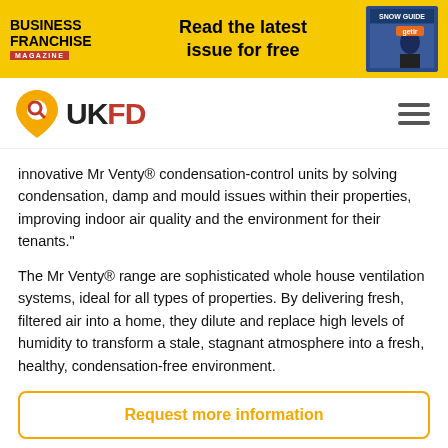[Figure (screenshot): Business Franchise Magazine banner ad with yellow background, 'Read the latest issue for free' text, and a person in a suit on the right side.]
[Figure (logo): UKFD logo with orange map pin/magnifying glass icon and red 'FD' lettering]
innovative Mr Venty® condensation-control units by solving condensation, damp and mould issues within their properties, improving indoor air quality and the environment for their tenants."
The Mr Venty® range are sophisticated whole house ventilation systems, ideal for all types of properties. By delivering fresh, filtered air into a home, they dilute and replace high levels of humidity to transform a stale, stagnant atmosphere into a fresh, healthy, condensation-free environment.
Request more information
Get in touch